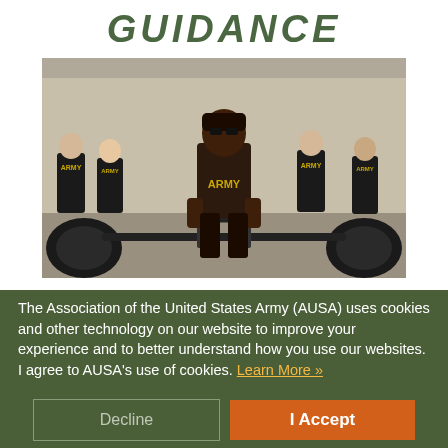GUIDANCE
[Figure (photo): Army soldiers in black PT gear doing a deadlift exercise with a trap bar/hex bar outdoors. A female soldier is in the foreground lifting the loaded bar, while other soldiers in Army PT shirts stand in the background watching.]
The Association of the United States Army (AUSA) uses cookies and other technology on our website to improve your experience and to better understand how you use our websites. I agree to AUSA's use of cookies. Learn More »
Decline
I Accept